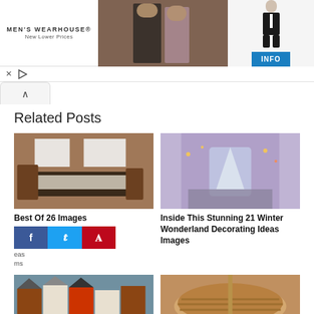[Figure (photo): Men's Wearhouse advertisement banner showing a couple in formalwear and a man in a tuxedo, with INFO button]
Related Posts
[Figure (photo): Bedroom with brown walls, low platform bed with dark bedding]
Best Of 26 Images
[Figure (photo): Winter wonderland staircase decorated with lights and snow-covered trees]
Inside This Stunning 21 Winter Wonderland Decorating Ideas Images
[Figure (photo): Row of colorful Victorian-style houses]
[Figure (photo): Wooden round outdoor dining table with umbrella]